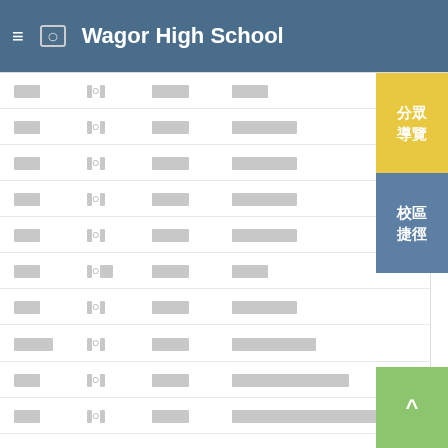Wagor High School
| □□□ | □○□ | □□□□ | □□□□ |
| □□□ | □○□ | □□□□ | □□□□□□□ |
| □□□ | □○□ | □□□□ | □□□□□□□ |
| □□□ | □○□ | □□□□ | □□□□□□□ |
| □□□ | □○□ | □□□□ | □□□□□□□ |
| □□□ | □○□□ | □□□□ | □□□□ |
| □□□ | □○□ | □□□□ | □□□□□□□ |
| □□□□ | □○□ | □□□□ | □□□□□□□□□ |
| □□□ | □○□ | □□□□ | □□□□□□□□□□□□ |
| □□□ | □○□ | □□□□ | □□□□□□□□□□□□□□□□□□ |
分眾導覽
校區捷徑
^